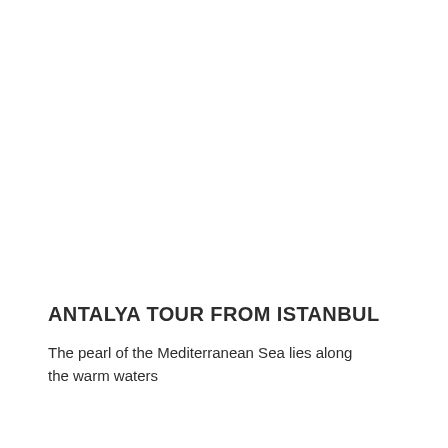ANTALYA TOUR FROM ISTANBUL
The pearl of the Mediterranean Sea lies along the warm waters